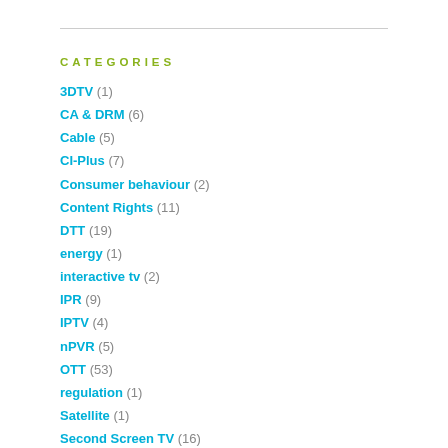CATEGORIES
3DTV (1)
CA & DRM (6)
Cable (5)
CI-Plus (7)
Consumer behaviour (2)
Content Rights (11)
DTT (19)
energy (1)
interactive tv (2)
IPR (9)
IPTV (4)
nPVR (5)
OTT (53)
regulation (1)
Satellite (1)
Second Screen TV (16)
UHDTV (10)
Uncategorized (8)